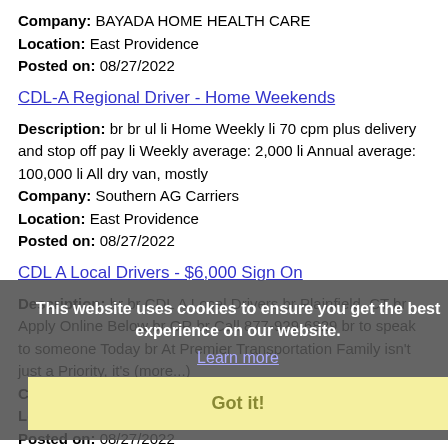Company: BAYADA HOME HEALTH CARE
Location: East Providence
Posted on: 08/27/2022
CDL-A Regional Driver - Home Weekends
Description: br br ul li Home Weekly li 70 cpm plus delivery and stop off pay li Weekly average: 2,000 li Annual average: 100,000 li All dry van, mostly
Company: Southern AG Carriers
Location: East Providence
Posted on: 08/27/2022
CDL A Local Drivers - $6,000 Sign On
Description: br br CDL A Local Drivers br Plainfield, CT br Apply Online Below br OR br Call 877-929-6829 br to speak to someone Today br At Premier Transportation Family isn't just a Priority, it's (more...)
Company: Premier Transportation
Location: East Providence
Posted on: 08/27/2022
Specialist, Accounting
Description: Alternate Locations: Work from Home Atlanta, GA Georgia Austin, TX Texas Bakersfield, CA California Baltimore, MD